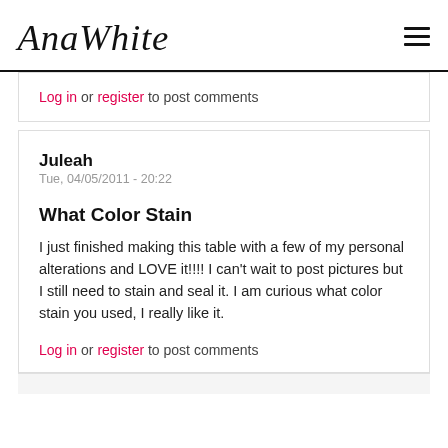AnaWhite [logo] [hamburger menu]
Log in or register to post comments
Juleah
Tue, 04/05/2011 - 20:22
What Color Stain
I just finished making this table with a few of my personal alterations and LOVE it!!!!  I can't wait to post pictures but I still need to stain and seal it.  I am curious what color stain you used, I really like it.
Log in or register to post comments